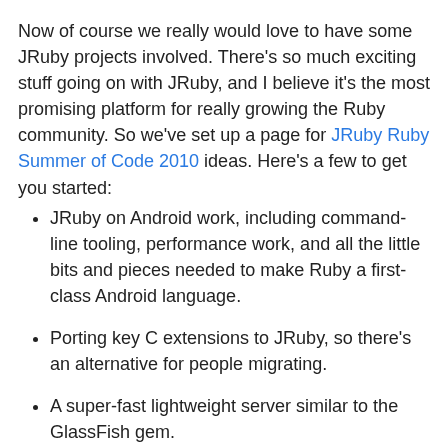Now of course we really would love to have some JRuby projects involved. There's so much exciting stuff going on with JRuby, and I believe it's the most promising platform for really growing the Ruby community. So we've set up a page for JRuby Ruby Summer of Code 2010 ideas. Here's a few to get you started:
JRuby on Android work, including command-line tooling, performance work, and all the little bits and pieces needed to make Ruby a first-class Android language.
Porting key C extensions to JRuby, so there's an alternative for people migrating.
A super-fast lightweight server similar to the GlassFish gem.
A full Hibernate and/or JPA backend for DataMapper or DataObjects, so that all databases Hibernate supports "just work" with JRuby.
Work on JRuby's nascent suport for Ruby C